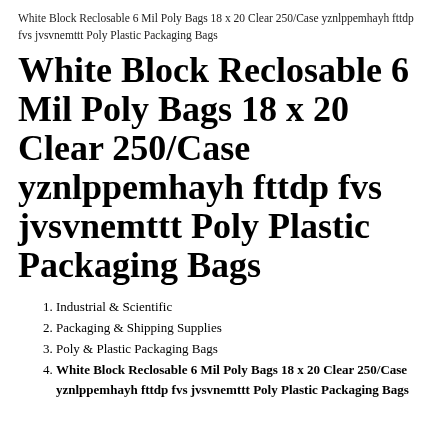White Block Reclosable 6 Mil Poly Bags 18 x 20 Clear 250/Case yznlppemhayh fttdp fvs jvsvnemttt Poly Plastic Packaging Bags
White Block Reclosable 6 Mil Poly Bags 18 x 20 Clear 250/Case yznlppemhayh fttdp fvs jvsvnemttt Poly Plastic Packaging Bags
Industrial & Scientific
Packaging & Shipping Supplies
Poly & Plastic Packaging Bags
White Block Reclosable 6 Mil Poly Bags 18 x 20 Clear 250/Case yznlppemhayh fttdp fvs jvsvnemttt Poly Plastic Packaging Bags